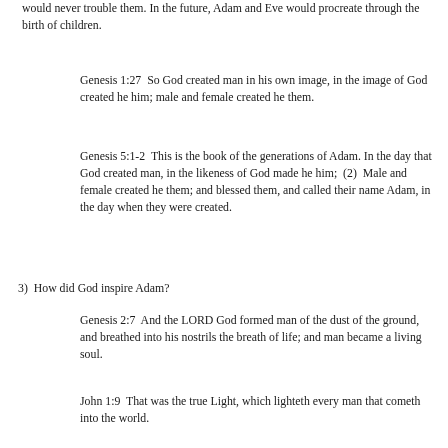would never trouble them. In the future, Adam and Eve would procreate through the birth of children.
Genesis 1:27  So God created man in his own image, in the image of God created he him; male and female created he them.
Genesis 5:1-2  This is the book of the generations of Adam. In the day that God created man, in the likeness of God made he him;  (2)  Male and female created he them; and blessed them, and called their name Adam, in the day when they were created.
3)  How did God inspire Adam?
Genesis 2:7  And the LORD God formed man of the dust of the ground, and breathed into his nostrils the breath of life; and man became a living soul.
John 1:9  That was the true Light, which lighteth every man that cometh into the world.